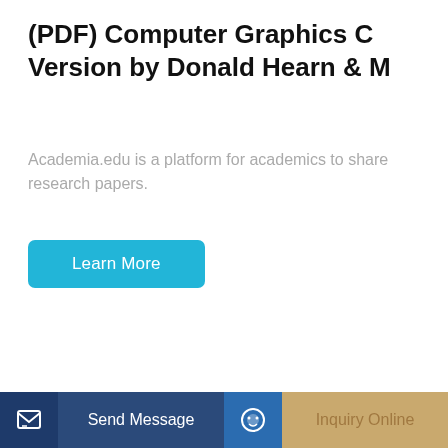(PDF) Computer Graphics C Version by Donald Hearn & M
Academia.edu is a platform for academics to share research papers.
Learn More
[Figure (photo): Yellow Komatsu excavator/construction machine on white background]
Send Message
Inquiry Online